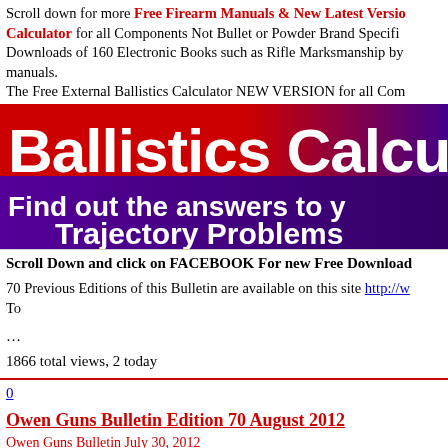Scroll down for more Free Firearm Manuals & New Latest Version Calculator for all Components Not Bullet or Powder Brand Specific Downloads of 160 Electronic Books such as Rifle Marksmanship by manuals. The Free External Ballistics Calculator NEW VERSION for all Com
[Figure (other): Ballistics Calculator banner image with red and purple gradient background. Large white bold text reads 'Ballistics Calcu' and below 'Find out the answers to y' and 'Trajectory Problems']
Scroll Down and click on FACEBOOK For new Free Download
70 Previous Editions of this Bulletin are available on this site http://w To
…
1866 total views, 2 today
0
Owen Guns Bulletin Edition 70 August 2012
Owen Guns Bulletin July 30, 2012